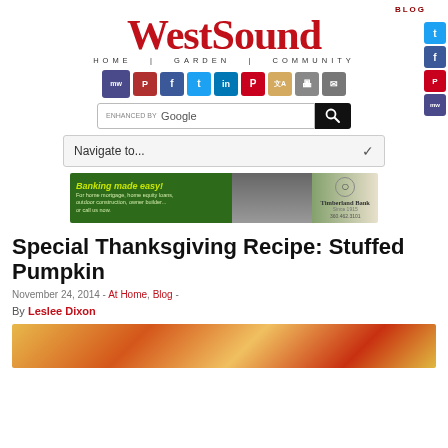[Figure (logo): WestSound Blog logo with HOME | GARDEN | COMMUNITY tagline]
[Figure (infographic): Row of social media sharing icons: MW, P, Facebook, Twitter, LinkedIn, Pinterest, translate, print, email]
[Figure (infographic): Google enhanced search bar with search button]
[Figure (infographic): Navigate to... dropdown menu]
[Figure (infographic): Timberland Bank advertisement banner: Banking made easy!]
Special Thanksgiving Recipe: Stuffed Pumpkin
November 24, 2014 - At Home, Blog -
By Leslee Dixon
[Figure (photo): Autumn/fall themed photo showing colorful leaves, berries, and pumpkin]